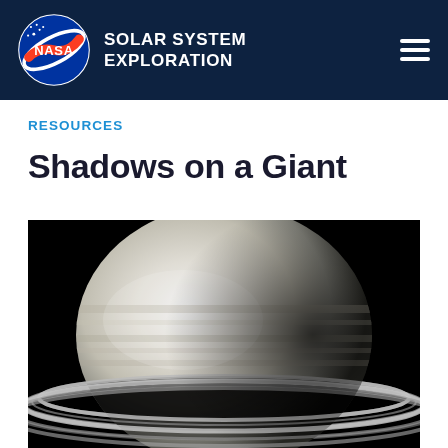NASA SOLAR SYSTEM EXPLORATION
RESOURCES
Shadows on a Giant
[Figure (photo): Black and white photograph of Saturn taken by Cassini spacecraft, showing the planet's globe partially lit against a black background with its ring system visible as dark bands crossing in front of and behind the planet.]